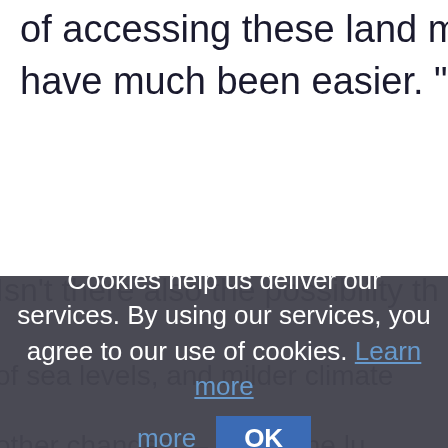of accessing these land masses have much been easier. "
Isn't there also the possibility th
Cookies help us deliver our services. By using our services, you agree to our use of cookies. Learn more
OK